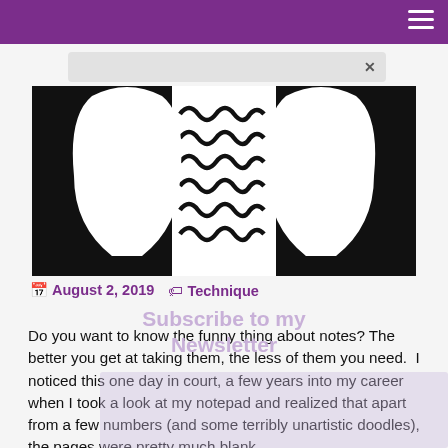[Figure (illustration): Black and white silhouette illustration of two human heads facing each other with abstract wavy lines between them suggesting thought or communication.]
August 2, 2019   Technique
Subscribe to my Newsletter
Do you want to know the funny thing about notes? The better you get at taking them, the less of them you need.  I noticed this one day in court, a few years into my career when I took a look at my notepad and realized that apart from a few numbers (and some terribly unartistic doodles), the pages were pretty much blank.
The more I think about it (and I do a lot of thinking about these things, especially with the scary final—I hope—year of graduate school looming before me), the more convinced I become that writing notes is not about, well